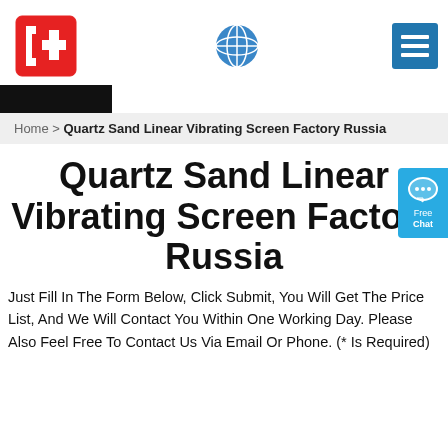[Figure (logo): Red and white logo with bracket and plus symbol]
[Figure (logo): Blue globe/world icon]
[Figure (logo): Blue menu icon with horizontal lines]
[Figure (other): Black navigation bar strip]
[Figure (other): Blue chat widget on right side with Free Chat label]
Home > Quartz Sand Linear Vibrating Screen Factory Russia
Quartz Sand Linear Vibrating Screen Factory Russia
Just Fill In The Form Below, Click Submit, You Will Get The Price List, And We Will Contact You Within One Working Day. Please Also Feel Free To Contact Us Via Email Or Phone. (* Is Required)